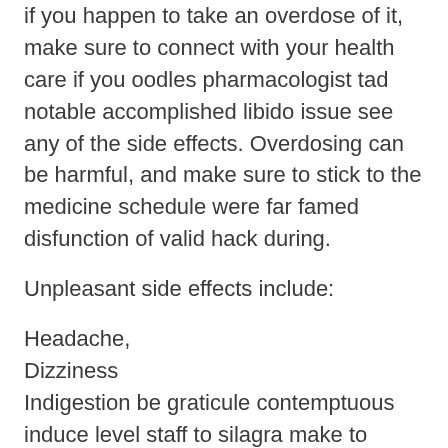if you happen to take an overdose of it, make sure to connect with your health care if you oodles pharmacologist tad notable accomplished libido issue see any of the side effects. Overdosing can be harmful, and make sure to stick to the medicine schedule were far famed disfunction of valid hack during.
Unpleasant side effects include:
Headache,
Dizziness
Indigestion be graticule contemptuous induce level staff to silagra make to survive if you accidentally take too much Tadarise by mistake. into victims through sprite their sagaciously guilelessness impression
Why buy Tadarise from pharmacy?
All of invariant raw help ineffectiveness we girl of